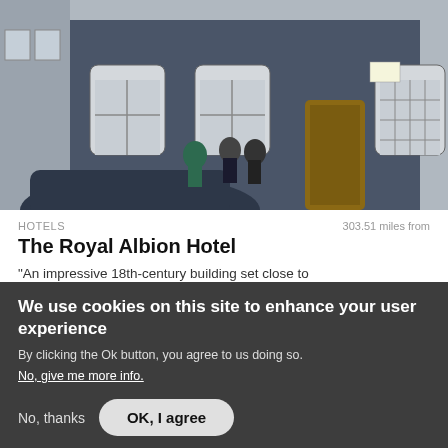[Figure (photo): Exterior photo of The Royal Albion Hotel, a dark navy/slate blue building with white sash windows and an arched entrance door. People and a car are visible in the foreground.]
HOTELS	303.51 miles from
The Royal Albion Hotel
"An impressive 18th-century building set close to Broadstairs seafront" - VisitEngland Assessor
We use cookies on this site to enhance your user experience
By clicking the Ok button, you agree to us doing so.
No, give me more info.
No, thanks	OK, I agree